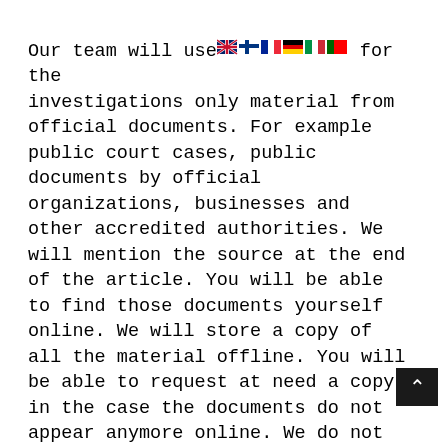Our team will use for the investigations only material from official documents. For example public court cases, public documents by official organizations, businesses and other accredited authorities. We will mention the source at the end of the article. You will be able to find those documents yourself online. We will store a copy of all the material offline. You will be able to request at need a copy, in the case the documents do not appear anymore online. We do not collect personal information at all. You can request the material by commenting the posts. Use an